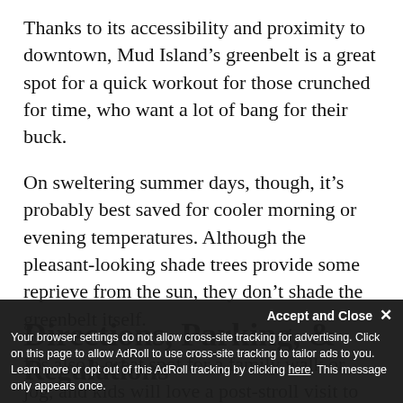Thanks to its accessibility and proximity to downtown, Mud Island’s greenbelt is a great spot for a quick workout for those crunched for time, who want a lot of bang for their buck.
On sweltering summer days, though, it’s probably best saved for cooler morning or evening temperatures. Although the pleasant-looking shade trees provide some reprieve from the sun, they don’t shade the greenbelt itself.
It’s also a great spot for a family walk or jog, and kids will love a post-stroll visit to the Mud Island River Park (particularly the Riverwalk).
Directions, Parking, & Regulations
Your browser settings do not allow cross-site tracking for advertising. Click on this page to allow AdRoll to use cross-site tracking to tailor ads to you. Learn more or opt out of this AdRoll tracking by clicking here. This message only appears once.